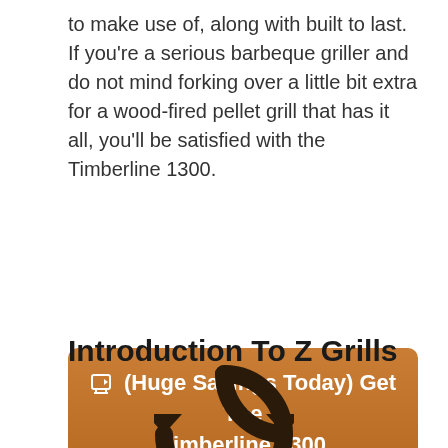to make use of, along with built to last. If you're a serious barbeque griller and do not mind forking over a little bit extra for a wood-fired pellet grill that has it all, you'll be satisfied with the Timberline 1300.
[Figure (other): Orange rounded rectangle CTA button with text: (Huge Savings Today) Get The Timberline 1300]
Introduction To Z Grills
[Figure (logo): Circular arrow logo icon, dark brown/black color, partially visible at bottom of page]